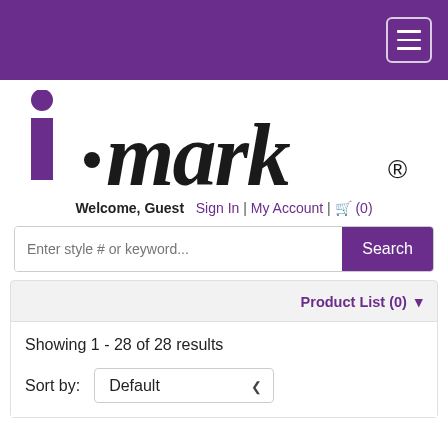[Figure (logo): i.mark® logo with purple i and dot, black mark text]
Welcome, Guest  Sign In | My Account | 🛒 (0)
Enter style # or keyword...  Search
Product List (0)
Showing 1 - 28 of 28 results
Sort by: Default